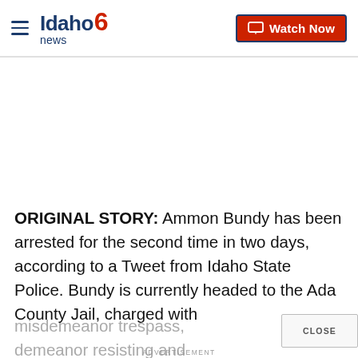Idaho News 6 — Watch Now
ORIGINAL STORY: Ammon Bundy has been arrested for the second time in two days, according to a Tweet from Idaho State Police. Bundy is currently headed to the Ada County Jail, charged with misdemeanor trespass, demeanor resisting and obstructing officers.